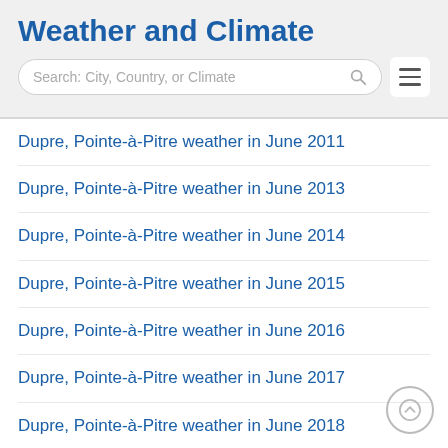Weather and Climate
[Figure (other): Search bar with placeholder text 'Search: City, Country, or Climate' and a hamburger menu icon]
Dupre, Pointe-à-Pitre weather in June 2011
Dupre, Pointe-à-Pitre weather in June 2013
Dupre, Pointe-à-Pitre weather in June 2014
Dupre, Pointe-à-Pitre weather in June 2015
Dupre, Pointe-à-Pitre weather in June 2016
Dupre, Pointe-à-Pitre weather in June 2017
Dupre, Pointe-à-Pitre weather in June 2018
Dupre, Pointe-à-Pitre weather in June 2019
Dupre, Pointe-à-Pitre weather in June 2020